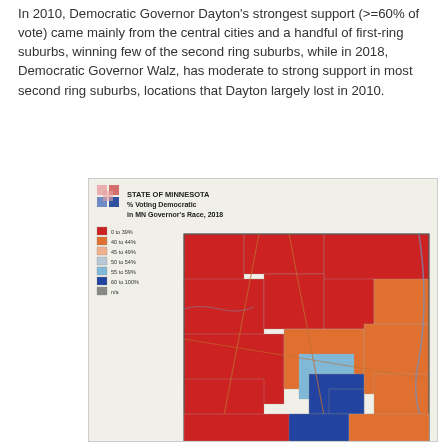In 2010, Democratic Governor Dayton's strongest support (>=60% of vote) came mainly from the central cities and a handful of first-ring suburbs, winning few of the second ring suburbs, while in 2018, Democratic Governor Walz, has moderate to strong support in most second ring suburbs, locations that Dayton largely lost in 2010.
[Figure (map): Choropleth map of Minnesota showing % Voting Democratic in MN Governor's Race, 2018. Legend shows: Red = 0 to 39%, Orange = 40 to 44%, Light orange = 45 to 49%, Light blue/gray = 50 to 54%, Light blue = 55 to 59%, Dark blue = 60 to 100%, Gray = n/a. The map shows large red areas in rural Minnesota, with blue concentrated in the Twin Cities metro area.]